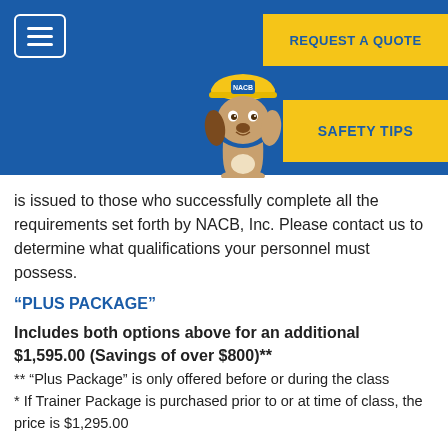[Figure (screenshot): Blue navigation header bar with hamburger menu button on left, 'REQUEST A QUOTE' yellow button top right, 'SAFETY TIPS' yellow button right, and a dog wearing a hard hat mascot image in the center-right area]
is issued to those who successfully complete all the requirements set forth by NACB, Inc. Please contact us to determine what qualifications your personnel must possess.
“PLUS PACKAGE”
Includes both options above for an additional $1,595.00 (Savings of over $800)**
** “Plus Package” is only offered before or during the class
* If Trainer Package is purchased prior to or at time of class, the price is $1,295.00